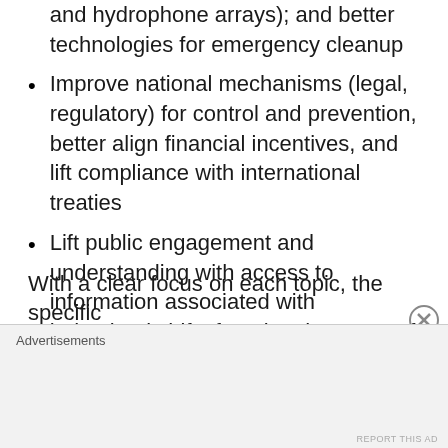ocean (such as aerial remote sensing, genomics, and hydrophone arrays); and better technologies for emergency cleanup
Improve national mechanisms (legal, regulatory) for control and prevention, better align financial incentives, and lift compliance with international treaties
Lift public engagement and understanding with access to information associated with behavioral shifts favoring the motto of “reduce, reuse and recycle” and encourage participation in citizen science as part of events involving sailing, surfing, and other activities dependent on a Clean Ocean
With a clear focus on each topic, the specific
Advertisements